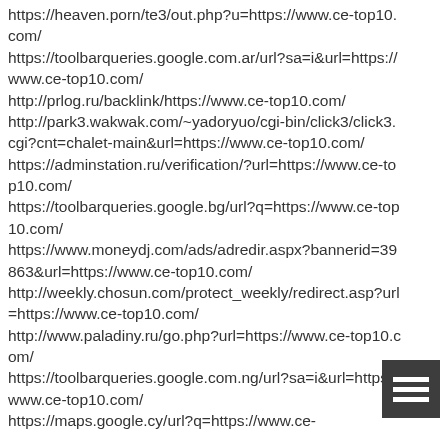https://heaven.porn/te3/out.php?u=https://www.ce-top10.com/
https://toolbarqueries.google.com.ar/url?sa=i&url=https://www.ce-top10.com/
http://prlog.ru/backlink/https://www.ce-top10.com/
http://park3.wakwak.com/~yadoryuo/cgi-bin/click3/click3.cgi?cnt=chalet-main&url=https://www.ce-top10.com/
https://adminstation.ru/verification/?url=https://www.ce-top10.com/
https://toolbarqueries.google.bg/url?q=https://www.ce-top10.com/
https://www.moneydj.com/ads/adredir.aspx?bannerid=39863&url=https://www.ce-top10.com/
http://weekly.chosun.com/protect_weekly/redirect.asp?url=https://www.ce-top10.com/
http://www.paladiny.ru/go.php?url=https://www.ce-top10.com/
https://toolbarqueries.google.com.ng/url?sa=i&url=https://www.ce-top10.com/
https://maps.google.cy/url?q=https://www.ce-top10.com/
[Figure (other): Menu/hamburger icon — dark gray square with three white horizontal bars]